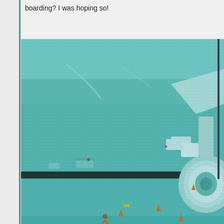boarding? I was hoping so!
[Figure (photo): Airport tarmac scene viewed through a window with a teal/green tint, showing an airplane engine on the right side, ground vehicles, airport workers, and runway markings. The photo is taken from inside an airport terminal looking out through tinted glass at the plane and tarmac area.]